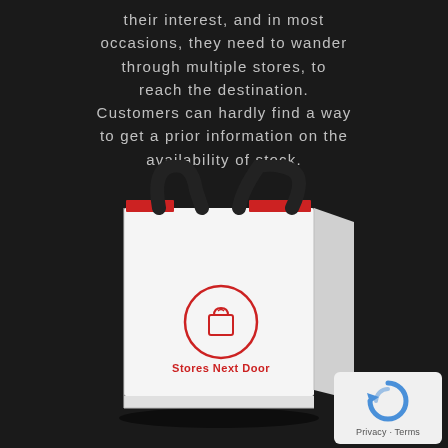their interest, and in most occasions, they need to wander through multiple stores, to reach the destination. Customers can hardly find a way to get a prior information on the availability of stock.
[Figure (photo): A white shopping bag with black handles and a red interior top edge, featuring the 'Stores Next Door' logo (a red circle with a shopping bag icon) and brand name in red text on the front, displayed on a dark background.]
[Figure (logo): Google reCAPTCHA badge showing the reCAPTCHA arrow icon in blue, with 'Privacy - Terms' text below, on a light grey rounded rectangle background.]